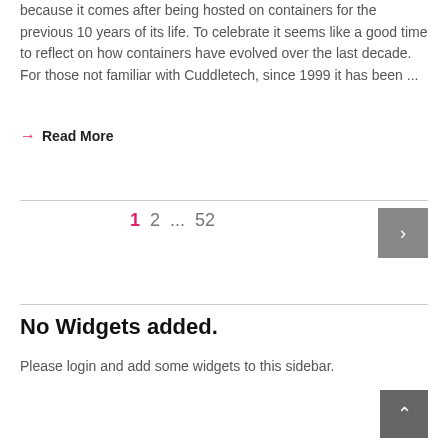because it comes after being hosted on containers for the previous 10 years of its life. To celebrate it seems like a good time to reflect on how containers have evolved over the last decade. For those not familiar with Cuddletech, since 1999 it has been ...
→ Read More
1  2  ...  52  >
No Widgets added.
Please login and add some widgets to this sidebar.